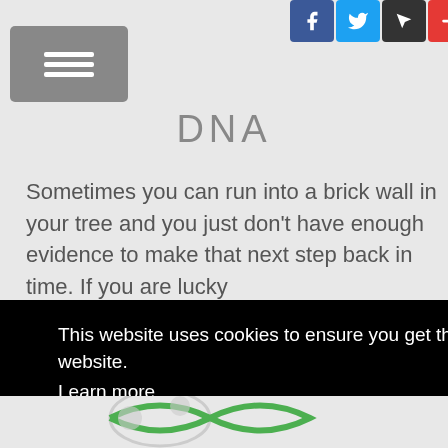Social share icons and navigation menu
DNA
Sometimes you can run into a brick wall in your tree and you just don't have enough evidence to make that next step back in time. If you are lucky ... ered DNA mix -
This website uses cookies to ensure you get the best experience on our website.
Learn more
Got it!